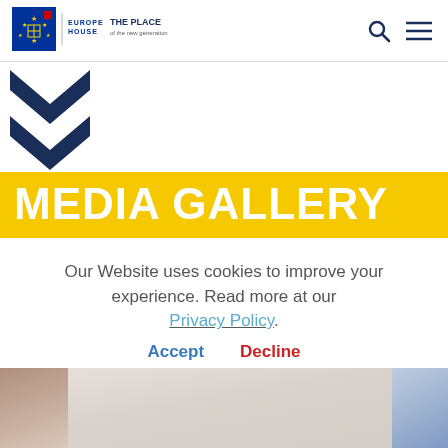[Figure (logo): Europe House logo with EU flag stars, grid icon, text 'EUROPE HOUSE | THE PLACE of the new generation']
[Figure (illustration): Two dark navy blue chevron/arrow shapes pointing downward on white background]
MEDIA GALLERY
Our Website uses cookies to improve your experience. Read more at our Privacy Policy.
Accept   Decline
[Figure (photo): Art gallery interior with paintings on walls, partially visible at bottom of page]